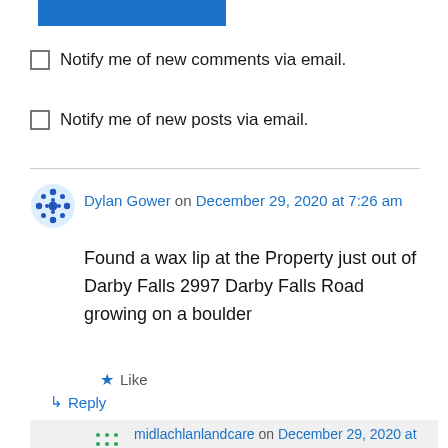[Figure (other): Blue button/bar at top of page]
Notify me of new comments via email.
Notify me of new posts via email.
Dylan Gower on December 29, 2020 at 7:26 am
Found a wax lip at the Property just out of Darby Falls 2997 Darby Falls Road growing on a boulder
Like
Reply
midlachlanlandcare on December 29, 2020 at 5:22 pm